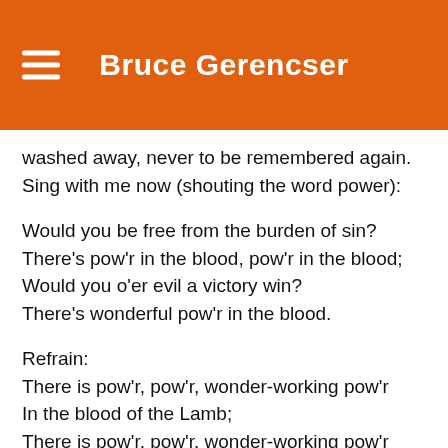Bruce Gerencser
washed away, never to be remembered again. Sing with me now (shouting the word power):
Would you be free from the burden of sin?
There's pow'r in the blood, pow'r in the blood;
Would you o'er evil a victory win?
There's wonderful pow'r in the blood.
Refrain:
There is pow'r, pow'r, wonder-working pow'r
In the blood of the Lamb;
There is pow'r, pow'r, wonder-working pow'r
In the precious blood of the Lamb.